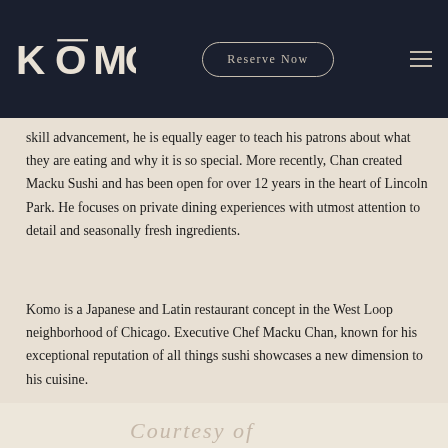KOMO | Reserve Now
skill advancement, he is equally eager to teach his patrons about what they are eating and why it is so special. More recently, Chan created Macku Sushi and has been open for over 12 years in the heart of Lincoln Park. He focuses on private dining experiences with utmost attention to detail and seasonally fresh ingredients.
Komo is a Japanese and Latin restaurant concept in the West Loop neighborhood of Chicago. Executive Chef Macku Chan, known for his exceptional reputation of all things sushi showcases a new dimension to his cuisine.